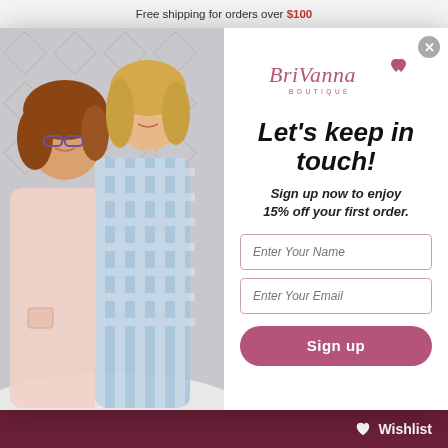Free shipping for orders over $100
[Figure (photo): Two women posing together — an older woman in a pink knit cardigan and white top, and a younger blonde woman in a blue gingham sleeveless dress, standing against a decorative geometric wall background]
[Figure (logo): BriVanna Boutique cursive logo in pink/mauve color]
Let's keep in touch!
Sign up now to enjoy 15% off your first order.
Enter Your Name
Enter Your Email
Sign up
Wishlist